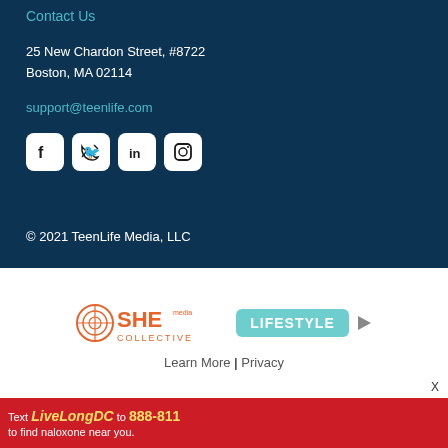Contact Us
25 New Chardon Street, #8722
Boston, MA 02114
support@teenlife.com
[Figure (other): Social media icons: Facebook, Twitter, LinkedIn, Instagram]
© 2021 TeenLife Media, LLC
[Figure (logo): SHE Media Collective LIFESTYLE advertisement banner with play button icon]
Learn More | Privacy
[Figure (other): Bottom advertisement banner: Text LiveLongDC to 888-811 to find naloxone near you.]